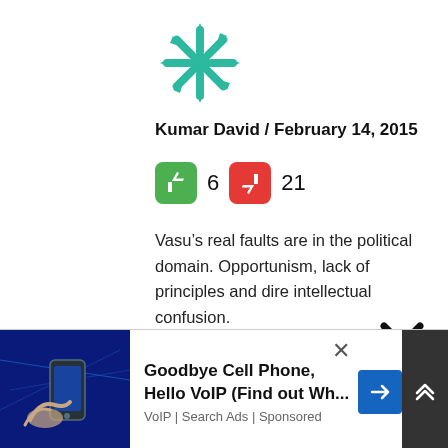[Figure (logo): Teal/green spiky snowflake-like logo icon]
Kumar David / February 14, 2015
[Figure (infographic): Thumbs up green button with count 6, thumbs down red button with count 21]
Vasu’s real faults are in the political domain. Opportunism, lack of principles and dire intellectual confusion.
A careful reading of this report indicates that the shortcomings reported here lie in the domain of mismanagement and poor financial control. I see no smoking gun of corruption in the sense of personal misappropriation of
[Figure (infographic): Black X close button overlay]
[Figure (infographic): Advertisement banner: image of hands with phone on blue background, text 'Goodbye Cell Phone, Hello VoIP (Find out Wh...' with blue arrow button, 'VoIP | Search Ads | Sponsored']